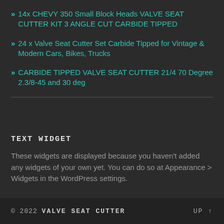14x CHEVY 350 Small Block Heads VALVE SEAT CUTTER KIT 3 ANGLE CUT CARBIDE TIPPED
24 x Valve Seat Cutter Set Carbide Tipped for Vintage & Modern Cars, Bikes, Trucks
CARBIDE TIPPED VALVE SEAT CUTTER 21/4 70 Degree 2.3/8-45 and 30 deg
TEXT WIDGET
These widgets are displayed because you haven't added any widgets of your own yet. You can do so at Appearance > Widgets in the WordPress settings.
© 2022 VALVE SEAT CUTTER    UP ↑